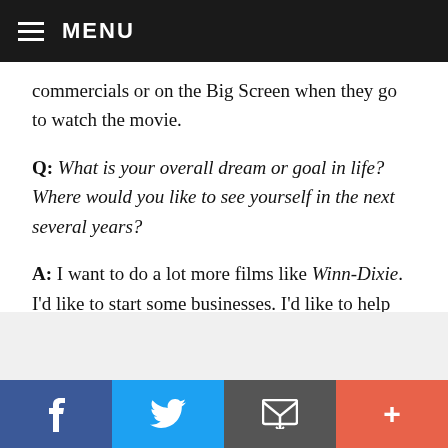MENU
commercials or on the Big Screen when they go to watch the movie.
Q: What is your overall dream or goal in life? Where would you like to see yourself in the next several years?
A: I want to do a lot more films like Winn-Dixie. I'd like to start some businesses. I'd like to help dogs all over the world and spay and neuter them. When I get a lot older, I'd like to become a producer and writer.
Facebook | Twitter | Email | More